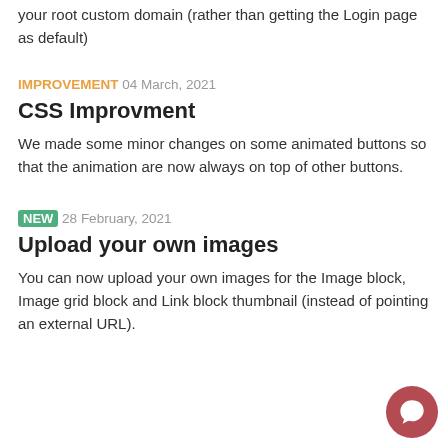your root custom domain (rather than getting the Login page as default)
IMPROVEMENT 04 March, 2021
CSS Improvment
We made some minor changes on some animated buttons so that the animation are now always on top of other buttons.
NEW 28 February, 2021
Upload your own images
You can now upload your own images for the Image block, Image grid block and Link block thumbnail (instead of pointing an external URL).